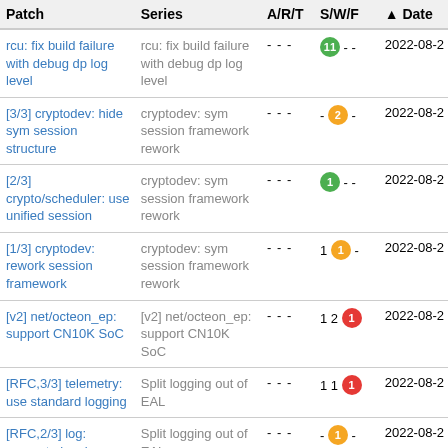| Patch | Series | A/R/T | S/W/F | Date |
| --- | --- | --- | --- | --- |
| rcu: fix build failure with debug dp log level | rcu: fix build failure with debug dp log level | - - - | 11 - - | 2022-08-2 |
| [3/3] cryptodev: hide sym session structure | cryptodev: sym session framework rework | - - - | - 2 - | 2022-08-2 |
| [2/3] crypto/scheduler: use unified session | cryptodev: sym session framework rework | - - - | 1 - - | 2022-08-2 |
| [1/3] cryptodev: rework session framework | cryptodev: sym session framework rework | - - - | 1 1 - | 2022-08-2 |
| [v2] net/octeon_ep: support CN10K SoC | [v2] net/octeon_ep: support CN10K SoC | - - - | 1 2 1 | 2022-08-2 |
| [RFC,3/3] telemetry: use standard logging | Split logging out of EAL | - - - | 1 1 1 | 2022-08-2 |
| [RFC,2/3] log: separate logging functions out of | Split logging out of EAL | - - - | - 1 - | 2022-08-2 |